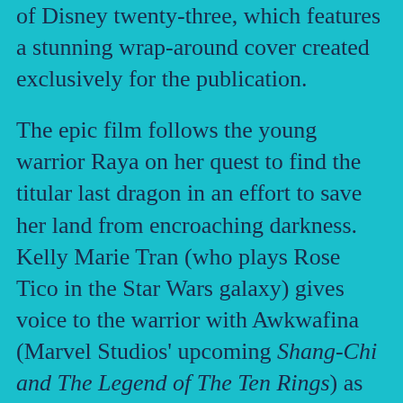of Disney twenty-three, which features a stunning wrap-around cover created exclusively for the publication.
The epic film follows the young warrior Raya on her quest to find the titular last dragon in an effort to save her land from encroaching darkness. Kelly Marie Tran (who plays Rose Tico in the Star Wars galaxy) gives voice to the warrior with Awkwafina (Marvel Studios' upcoming Shang-Chi and The Legend of The Ten Rings) as the fabled dragon. The two stars, along with directors Don Hall and Carlos López Estrada, sit down